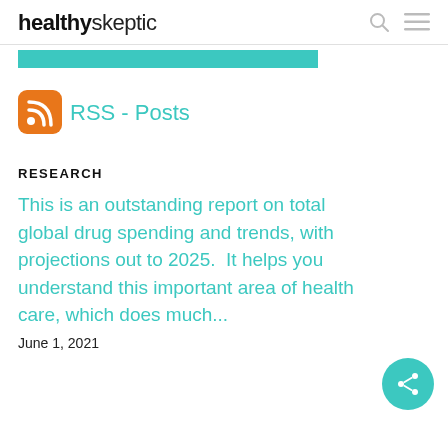healthyskeptic
[Figure (other): Teal/turquoise colored bar below the header navigation]
[Figure (logo): RSS feed icon — orange rounded square with white RSS symbol]
RSS - Posts
RESEARCH
This is an outstanding report on total global drug spending and trends, with projections out to 2025.  It helps you understand this important area of health care, which does much...
June 1, 2021